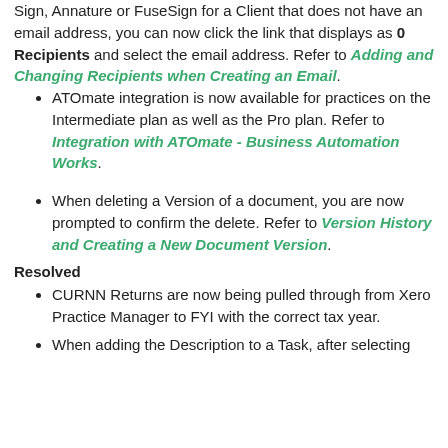Sign, Annature or FuseSign for a Client that does not have an email address, you can now click the link that displays as 0 Recipients and select the email address. Refer to Adding and Changing Recipients when Creating an Email.
ATOmate integration is now available for practices on the Intermediate plan as well as the Pro plan. Refer to Integration with ATOmate - Business Automation Works.
When deleting a Version of a document, you are now prompted to confirm the delete. Refer to Version History and Creating a New Document Version.
Resolved
CURNN Returns are now being pulled through from Xero Practice Manager to FYI with the correct tax year.
When adding the Description to a Task, after selecting